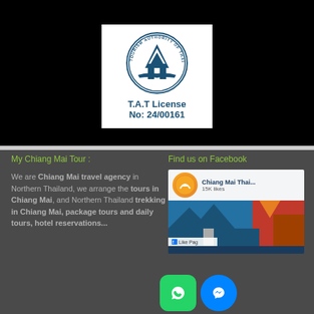[Figure (logo): T.A.T (Tourism Authority of Thailand) circular logo with temple silhouette illustration, white background]
T.A.T License
No: 24/00161
My Chiang Mai Tour :
Find us on Facebook
We are Chiang Mai travel agency in Northern Thailand, we arrange the tours in Chiang Mai, and Northern Thailand trekking in Chiang Mai, package tours and daily tours, hotel reservations...
[Figure (screenshot): Facebook page widget showing 'Chiang Mai Thai...' page with 15K likes, temple background photo, Like Page button, WhatsApp and Messenger icon buttons]